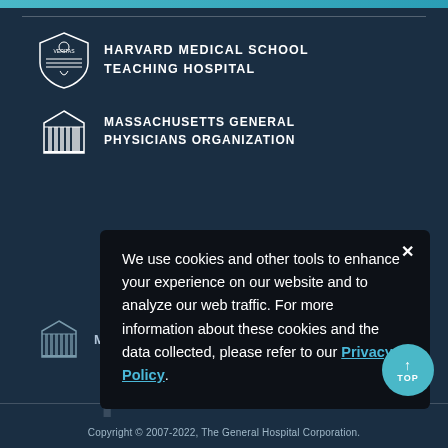[Figure (logo): Harvard Medical School Teaching Hospital logo with shield icon and text]
[Figure (logo): Massachusetts General Physicians Organization logo with building icon and text]
We use cookies and other tools to enhance your experience on our website and to analyze our web traffic. For more information about these cookies and the data collected, please refer to our Privacy Policy.
[Figure (logo): Mass General Brigham logo with building icon]
Copyright © 2007-2022, The General Hospital Corporation.